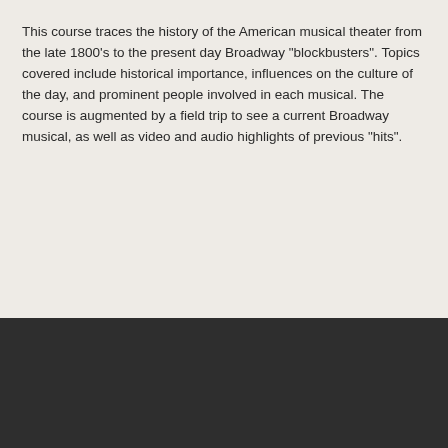This course traces the history of the American musical theater from the late 1800's to the present day Broadway "blockbusters". Topics covered include historical importance, influences on the culture of the day, and prominent people involved in each musical. The course is augmented by a field trip to see a current Broadway musical, as well as video and audio highlights of previous "hits".
Contact Us
Hunterdon Central Regional High School
84 Route 31, Flemington, NJ, 08822
(908)782-5727